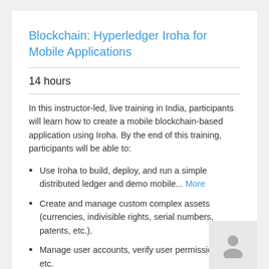Blockchain: Hyperledger Iroha for Mobile Applications
14 hours
In this instructor-led, live training in India, participants will learn how to create a mobile blockchain-based application using Iroha. By the end of this training, participants will be able to:
Use Iroha to build, deploy, and run a simple distributed ledger and demo mobile... More
Create and manage custom complex assets (currencies, indivisible rights, serial numbers, patents, etc.).
Manage user accounts, verify user permissions, etc.
Validate business rules for transactions and